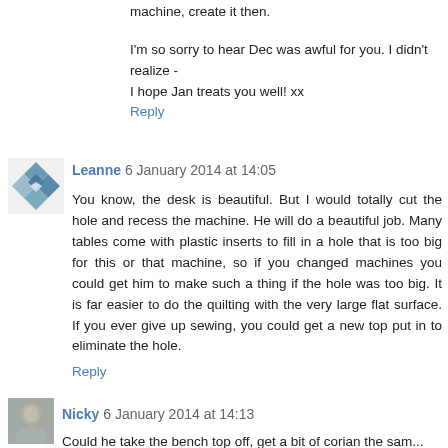machine, create it then.
I'm so sorry to hear Dec was awful for you. I didn't realize - I hope Jan treats you well! xx
Reply
[Figure (illustration): Diamond-shaped avatar with quilt-pattern design in blue, green, and gray tones]
Leanne 6 January 2014 at 14:05
You know, the desk is beautiful. But I would totally cut the hole and recess the machine. He will do a beautiful job. Many tables come with plastic inserts to fill in a hole that is too big for this or that machine, so if you changed machines you could get him to make such a thing if the hole was too big. It is far easier to do the quilting with the very large flat surface. If you ever give up sewing, you could get a new top put in to eliminate the hole.
Reply
[Figure (photo): Small square photo of a woman]
Nicky 6 January 2014 at 14:13
Could he take the bench top off, get a bit of corian the sam...